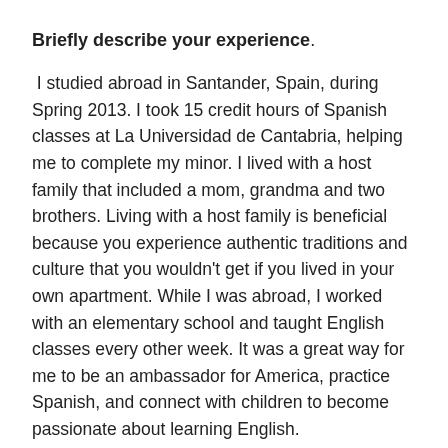Briefly describe your experience.
I studied abroad in Santander, Spain, during Spring 2013. I took 15 credit hours of Spanish classes at La Universidad de Cantabria, helping me to complete my minor. I lived with a host family that included a mom, grandma and two brothers. Living with a host family is beneficial because you experience authentic traditions and culture that you wouldn't get if you lived in your own apartment. While I was abroad, I worked with an elementary school and taught English classes every other week. It was a great way for me to be an ambassador for America, practice Spanish, and connect with children to become passionate about learning English.
How do you feel the study abroad related to your